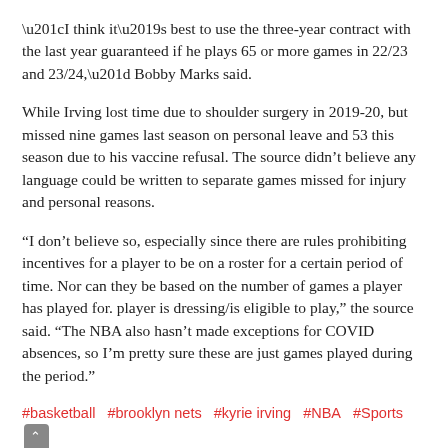“I think it’s best to use the three-year contract with the last year guaranteed if he plays 65 or more games in 22/23 and 23/24,” Bobby Marks said.
While Irving lost time due to shoulder surgery in 2019-20, but missed nine games last season on personal leave and 53 this season due to his vaccine refusal. The source didn’t believe any language could be written to separate games missed for injury and personal reasons.
“I don’t believe so, especially since there are rules prohibiting incentives for a player to be on a roster for a certain period of time. Nor can they be based on the number of games a player has played for. player is dressing/is eligible to play,” the source said. “The NBA also hasn’t made exceptions for COVID absences, so I’m pretty sure these are just games played during the period.”
#basketball  #brooklyn nets  #kyrie irving  #NBA  #Sports